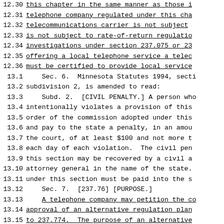12.30   this chapter in the same manner as those i
12.31   telephone company regulated under this cha
12.32   telecommunications carrier is not subject
12.33   is not subject to rate-of-return regulatio
12.34   investigations under section 237.075 or 23
12.35   offering a local telephone service a telec
12.36   must be certified to provide local service
13.1        Sec. 6.  Minnesota Statutes 1994, secti
13.2    subdivision 2, is amended to read:
13.3        Subd. 2.  [CIVIL PENALTY.] A person who
13.4    intentionally violates a provision of this
13.5    order of the commission adopted under this
13.6    and pay to the state a penalty, in an amou
13.7    the court, of at least $100 and not more t
13.8    each day of each violation.  The civil pen
13.9    this section may be recovered by a civil a
13.10   attorney general in the name of the state.
13.11   under this section must be paid into the s
13.12       Sec. 7.  [237.76] [PURPOSE.]
13.13       A telephone company may petition the co
13.14   approval of an alternative regulation plan
13.15   to 237.774.  The purpose of an alternative
13.16   provide a telephone company's customers wi